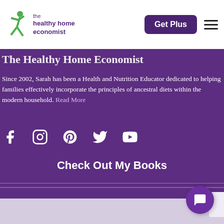the healthy home economist — navigation bar with Get Plus button and hamburger menu
The Healthy Home Economist
Since 2002, Sarah has been a Health and Nutrition Educator dedicated to helping families effectively incorporate the principles of ancestral diets within the modern household. Read More
[Figure (infographic): Social media icons row: Facebook, Instagram, Pinterest, Twitter, YouTube — white icons on purple background]
Check Out My Books
[Figure (other): Chat/messaging bubble icon button, purple circle with white speech bubble icon, bottom right corner]